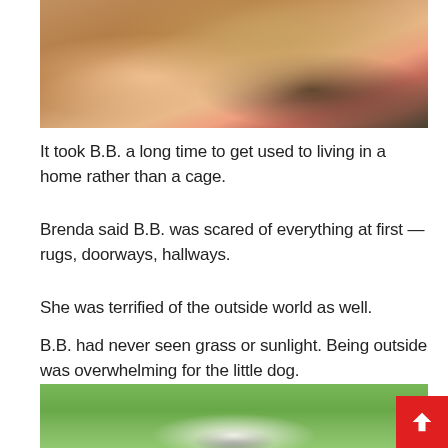[Figure (photo): Close-up photo of hands holding a small curly-haired dog against a pink jacket background]
It took B.B. a long time to get used to living in a home rather than a cage.
Brenda said B.B. was scared of everything at first — rugs, doorways, hallways.
She was terrified of the outside world as well.
B.B. had never seen grass or sunlight. Being outside was overwhelming for the little dog.
[Figure (photo): Photo of a small dog on green grass outdoors]